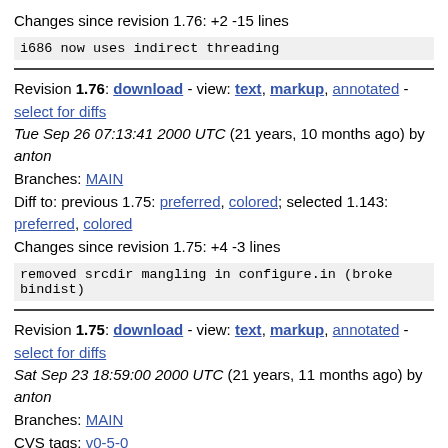Changes since revision 1.76: +2 -15 lines
i686 now uses indirect threading
Revision 1.76: download - view: text, markup, annotated - select for diffs
Tue Sep 26 07:13:41 2000 UTC (21 years, 10 months ago) by anton
Branches: MAIN
Diff to: previous 1.75: preferred, colored; selected 1.143: preferred, colored
Changes since revision 1.75: +4 -3 lines
removed srcdir mangling in configure.in (broke bindist)
Revision 1.75: download - view: text, markup, annotated - select for diffs
Sat Sep 23 18:59:00 2000 UTC (21 years, 11 months ago) by anton
Branches: MAIN
CVS tags: v0-5-0
Diff to: previous 1.74: preferred, colored; selected 1.143: preferred, colored
Changes since revision 1.74: +1 -1 lines
updated version number and README